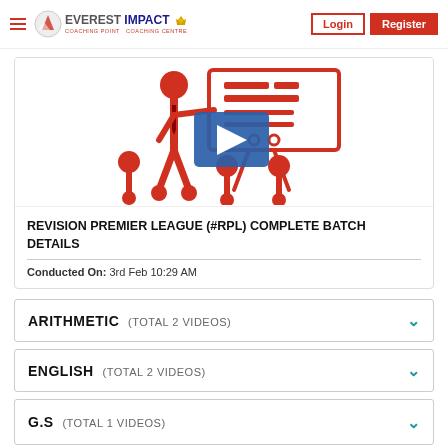Everest Impact — Login | Register
[Figure (illustration): Teaching illustration showing a teacher pointing at a whiteboard with students, with a blue video play button overlay]
REVISION PREMIER LEAGUE (#RPL) COMPLETE BATCH DETAILS
Conducted On:  3rd Feb 10:29 AM
ARITHMETIC  (TOTAL 2 VIDEOS)
ENGLISH  (TOTAL 2 VIDEOS)
G.S  (TOTAL 1 VIDEOS)